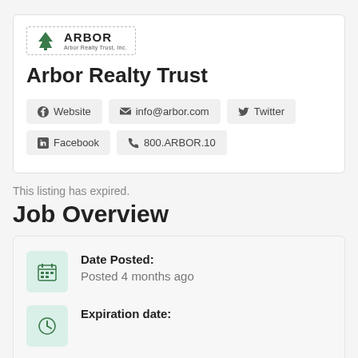[Figure (logo): Arbor Realty Trust, Inc. company logo with tree icon and dashed border]
Arbor Realty Trust
Website
info@arbor.com
Twitter
Facebook
800.ARBOR.10
This listing has expired.
Job Overview
Date Posted:
Posted 4 months ago
Expiration date: